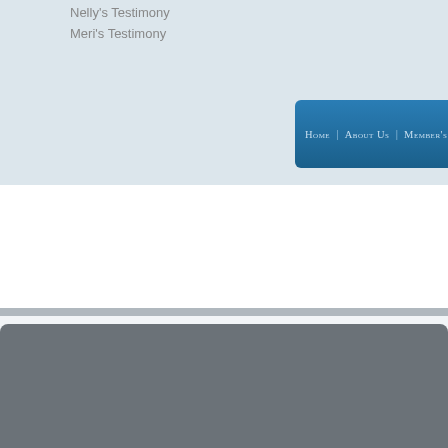Nelly's Testimony
Meri's Testimony
Home  About Us  Member's Corner  Ou...
HOME
Announcements
Community Services
Prayer Request
ABOUT US
Our History & Heritage
Our Vision & Mission
Our Beliefs
Our Pastoral Team
SHOUT HIS NAME
Read Testimonies
Share a Testimony
MEMBER'S CORNER
How Can I Get Involved?
Form Downloads
Resources
Update Your Particulars